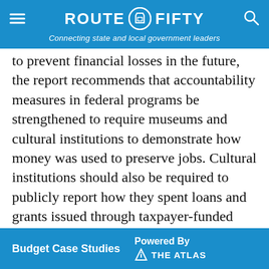ROUTE FIFTY — Connecting state and local government leaders
to prevent financial losses in the future, the report recommends that accountability measures in federal programs be strengthened to require museums and cultural institutions to demonstrate how money was used to preserve jobs. Cultural institutions should also be required to publicly report how they spent loans and grants issued through taxpayer-funded programs like PPP and the SVOG, the report recommends.
Andrea Noble is a staff correspondent with Route Fifty.
Budget Case Studies   Powered By   THE ATLAS